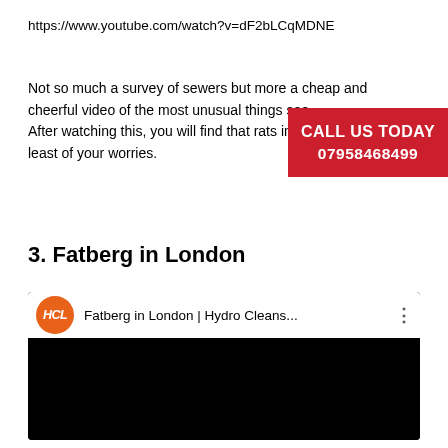https://www.youtube.com/watch?v=dF2bLCqMDNE
Not so much a survey of sewers but more a cheap and cheerful video of the most unusual things seen. After watching this, you will find that rats in sewers are the least of your worries.
[Figure (other): Red call-to-action banner reading CALL US TODAY 07958468499]
3. Fatberg in London
[Figure (screenshot): YouTube video thumbnail for 'Fatberg in London | Hydro Cleans...' with HCL orange logo, white topbar and black video area below]